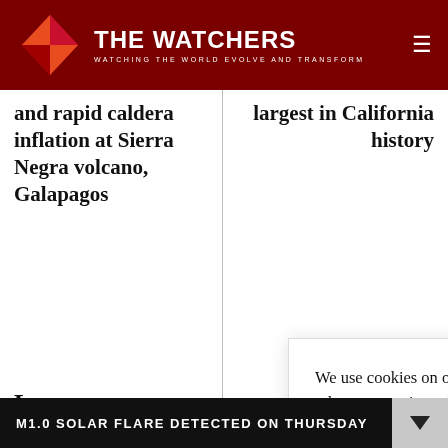THE WATCHERS — WATCHING THE WORLD EVOLVE AND TRANSFORM
and rapid caldera inflation at Sierra Negra volcano, Galapagos
largest in California history
Leave a re[ply]
You must be [logged in] to post a comment. Don't have an account? Plea[se register]
We use cookies on our website to give you the most relevant experience by remembering your preferences and repeat visits. By clicking “Accept”, you consent to the use of ALL the cookies. Do not sell my personal information.
M1.0 SOLAR FLARE DETECTED ON THURSDAY